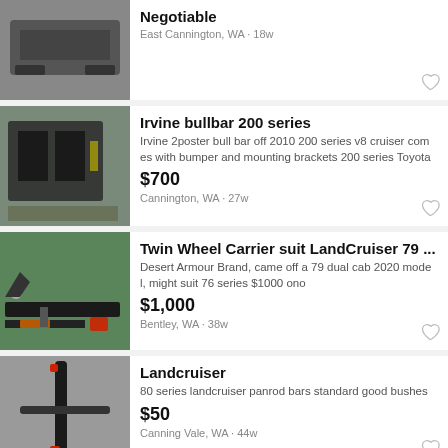Negotiable
East Cannington, WA · 18w
Irvine bullbar 200 series
Irvine 2poster bull bar off 2010 200 series v8 cruiser comes with bumper and mounting brackets 200 series Toyota
$700
Cannington, WA · 27w
Twin Wheel Carrier suit LandCruiser 79 ...
Desert Armour Brand, came off a 79 dual cab 2020 model, might suit 76 series $1000 ono
$1,000
Bentley, WA · 38w
Landcruiser
80 series landcruiser panrod bars standard good bushes
$50
Canning Vale, WA · 44w